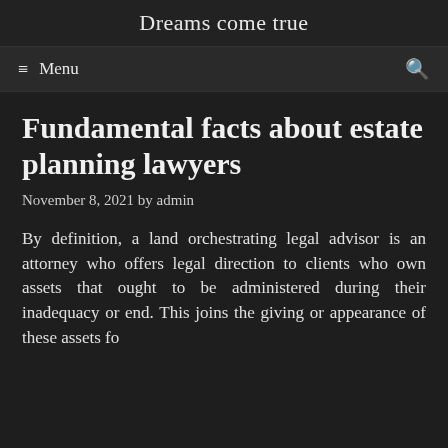Dreams come true
≡ Menu  🔍
Fundamental facts about estate planning lawyers
November 8, 2021 by admin
By definition, a land orchestrating legal advisor is an attorney who offers legal direction to clients who own assets that ought to be administered during their inadequacy or end. This joins the giving or appearance of these assets fo